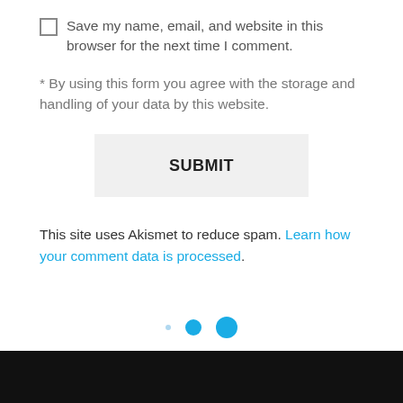Save my name, email, and website in this browser for the next time I comment.
* By using this form you agree with the storage and handling of your data by this website.
SUBMIT
This site uses Akismet to reduce spam. Learn how your comment data is processed.
[Figure (other): Three dots/circles of increasing size in cyan/blue, used as a slider or pagination indicator]